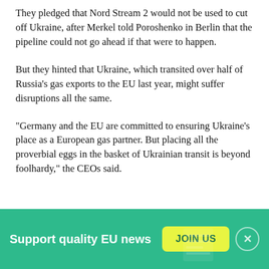They pledged that Nord Stream 2 would not be used to cut off Ukraine, after Merkel told Poroshenko in Berlin that the pipeline could not go ahead if that were to happen.
But they hinted that Ukraine, which transited over half of Russia's gas exports to the EU last year, might suffer disruptions all the same.
"Germany and the EU are committed to ensuring Ukraine's place as a European gas partner. But placing all the proverbial eggs in the basket of Ukrainian transit is beyond foolhardy," the CEOs said.
[Figure (infographic): Green banner advertisement: 'Support quality EU news' with a yellow 'JOIN US' button and a close (X) button on the right.]